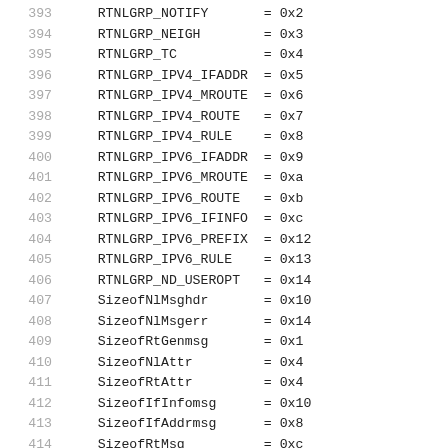393    RTNLGRP_NOTIFY    = 0x2
394    RTNLGRP_NEIGH     = 0x3
395    RTNLGRP_TC        = 0x4
396    RTNLGRP_IPV4_IFADDR = 0x5
397    RTNLGRP_IPV4_MROUTE = 0x6
398    RTNLGRP_IPV4_ROUTE  = 0x7
399    RTNLGRP_IPV4_RULE   = 0x8
400    RTNLGRP_IPV6_IFADDR = 0x9
401    RTNLGRP_IPV6_MROUTE = 0xa
402    RTNLGRP_IPV6_ROUTE  = 0xb
403    RTNLGRP_IPV6_IFINFO = 0xc
404    RTNLGRP_IPV6_PREFIX = 0x12
405    RTNLGRP_IPV6_RULE   = 0x13
406    RTNLGRP_ND_USEROPT  = 0x14
407    SizeofNlMsghdr      = 0x10
408    SizeofNlMsgerr      = 0x14
409    SizeofRtGenmsg      = 0x1
410    SizeofNlAttr        = 0x4
411    SizeofRtAttr        = 0x4
412    SizeofIfInfomsg     = 0x10
413    SizeofIfAddrmsg     = 0x8
414    SizeofRtMsg         = 0xc